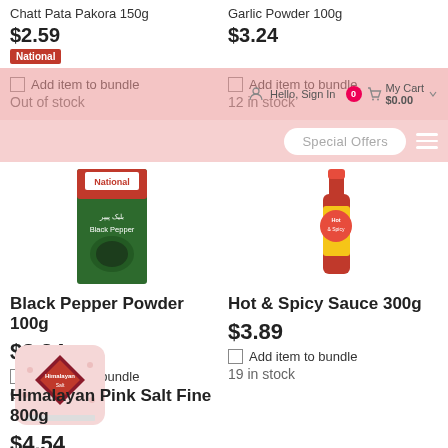Hello, Sign In | 0 | My Cart $0.00
Special Offers
Chatt Pata Pakora 150g
$2.59
Add item to bundle
Out of stock
Garlic Powder 100g
$3.24
Add item to bundle
12 in stock
Black Pepper Powder 100g
$3.24
Add item to bundle
Out of stock
Hot & Spicy Sauce 300g
$3.89
Add item to bundle
19 in stock
Himalayan Pink Salt Fine 800g
$4.54